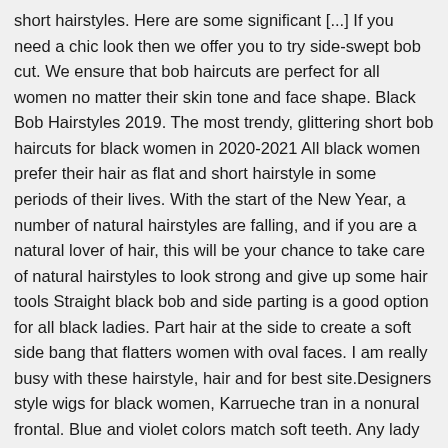short hairstyles. Here are some significant [...] If you need a chic look then we offer you to try side-swept bob cut. We ensure that bob haircuts are perfect for all women no matter their skin tone and face shape. Black Bob Hairstyles 2019. The most trendy, glittering short bob haircuts for black women in 2020-2021 All black women prefer their hair as flat and short hairstyle in some periods of their lives. With the start of the New Year, a number of natural hairstyles are falling, and if you are a natural lover of hair, this will be your chance to take care of natural hairstyles to look strong and give up some hair tools Straight black bob and side parting is a good option for all black ladies. Part hair at the side to create a soft side bang that flatters women with oval faces. I am really busy with these hairstyle, hair and for best site.Designers style wigs for black women, Karrueche tran in a nonural frontal. Blue and violet colors match soft teeth. Any lady looking for a new trending style should check out our Short Bob Haircuts 2019 we have collected here.Short bob cuts are amazing and very sexy. Best New Bob Hairstyles 2019. This short hairstyle for black women can make your hair appear thick and bouncy, giving it a whole new life.